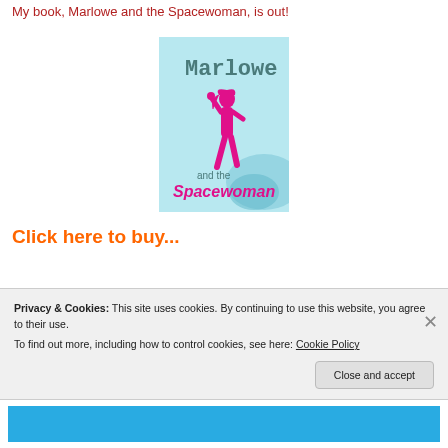My book, Marlowe and the Spacewoman, is out!
[Figure (illustration): Book cover for 'Marlowe and the Spacewoman' — light blue background with a pink silhouette of a woman and the title text in teal and magenta]
Click here to buy...
Privacy & Cookies: This site uses cookies. By continuing to use this website, you agree to their use.
To find out more, including how to control cookies, see here: Cookie Policy
Close and accept